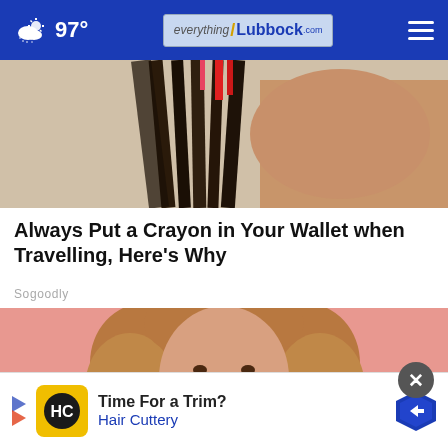97° everything Lubbock .com
[Figure (photo): Close-up of a hand holding colored pencils or crayons, dark background]
Always Put a Crayon in Your Wallet when Travelling, Here's Why
Sogoodly
[Figure (photo): Young woman with curly hair smiling against a pink background]
Time For a Trim? Hair Cuttery